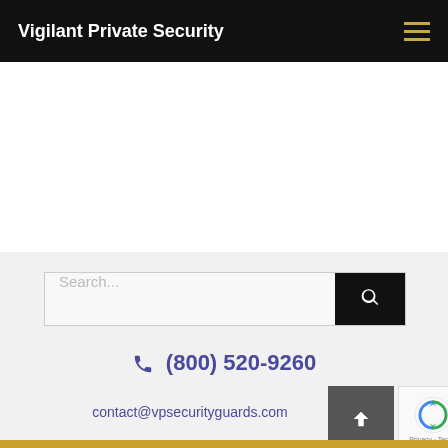Vigilant Private Security
Search...
(800) 520-9260
contact@vpsecurityguards.com